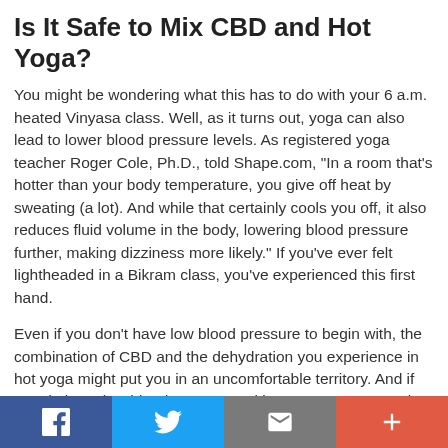Is It Safe to Mix CBD and Hot Yoga?
You might be wondering what this has to do with your 6 a.m. heated Vinyasa class. Well, as it turns out, yoga can also lead to lower blood pressure levels. As registered yoga teacher Roger Cole, Ph.D., told Shape.com, "In a room that's hotter than your body temperature, you give off heat by sweating (a lot). And while that certainly cools you off, it also reduces fluid volume in the body, lowering blood pressure further, making dizziness more likely." If you've ever felt lightheaded in a Bikram class, you've experienced this first hand.
Even if you don't have low blood pressure to begin with, the combination of CBD and the dehydration you experience in hot yoga might put you in an uncomfortable territory. And if you do have low blood pressure, taking CBD as you step into a hot yoga studio might not serve you well, even
f   Twitter   Email   +